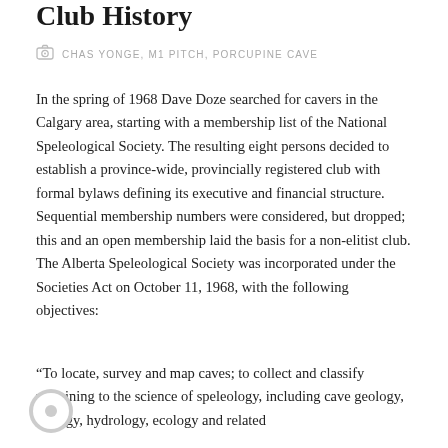Club History
CHAS YONGE, M1 PITCH, PORCUPINE CAVE
In the spring of 1968 Dave Doze searched for cavers in the Calgary area, starting with a membership list of the National Speleological Society. The resulting eight persons decided to establish a province-wide, provincially registered club with formal bylaws defining its executive and financial structure. Sequential membership numbers were considered, but dropped; this and an open membership laid the basis for a non-elitist club. The Alberta Speleological Society was incorporated under the Societies Act on October 11, 1968, with the following objectives:
"To locate, survey and map caves; to collect and classify pertaining to the science of speleology, including cave geology, biology, hydrology, ecology and related